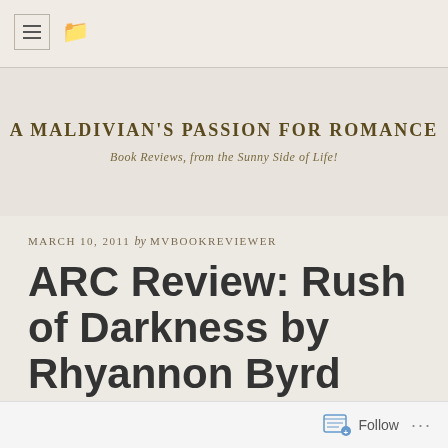A MALDIVIAN'S PASSION FOR ROMANCE — Book Reviews, from the Sunny Side of Life!
MARCH 10, 2011 by MVBOOKREVIEWER
ARC Review: Rush of Darkness by Rhyannon Byrd
Follow ...